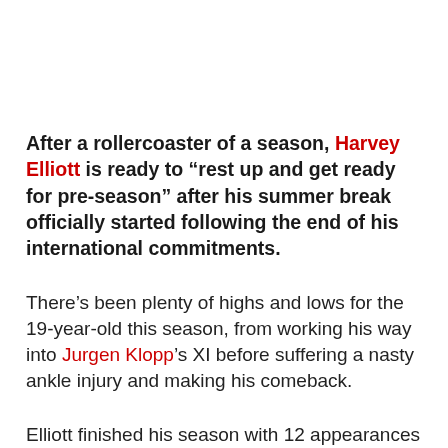After a rollercoaster of a season, Harvey Elliott is ready to “rest up and get ready for pre-season” after his summer break officially started following the end of his international commitments.
There’s been plenty of highs and lows for the 19-year-old this season, from working his way into Jurgen Klopp’s XI before suffering a nasty ankle injury and making his comeback.
Elliott finished his season with 12 appearances for Liverpool, scoring his maiden goal and converting a